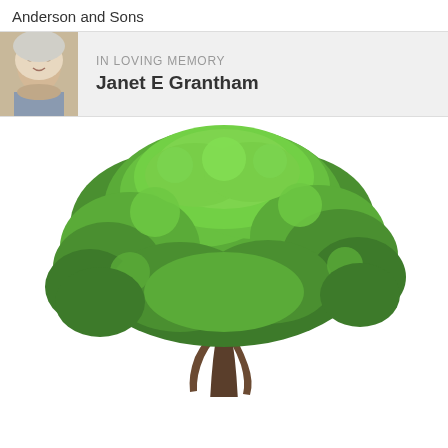Anderson and Sons
IN LOVING MEMORY
Janet E Grantham
[Figure (illustration): Large green deciduous tree with dense foliage on a white background, trunk visible at center bottom]